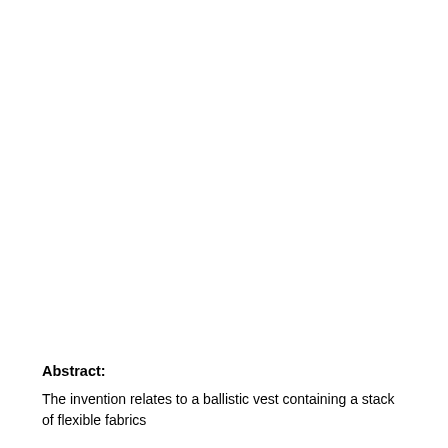Abstract:
The invention relates to a ballistic vest containing a stack of flexible fabrics and a stack of flexible addition thereto, and a carrier in which the fabric stacks are